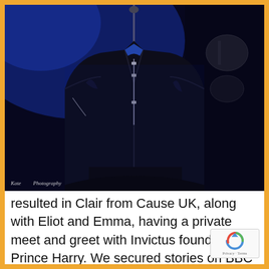[Figure (photo): A performer on stage wearing a black leather jacket, photographed from the torso up with blue stage lighting in the background. Photo credit watermark visible in lower left.]
resulted in Clair from Cause UK, along with Eliot and Emma, having a private meet and greet with Invictus founder, Prince Harry. We secured stories on BBC One Show, BBC Breakfast and across print media. We're really proud to support Eliot's charity gigs, as we throughout the years. It followed his 50th